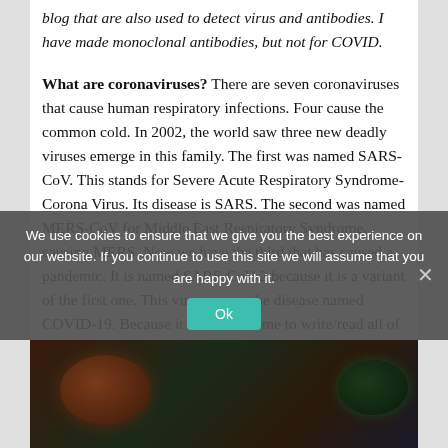blog that are also used to detect virus and antibodies. I have made monoclonal antibodies, but not for COVID.
What are coronaviruses? There are seven coronaviruses that cause human respiratory infections. Four cause the common cold. In 2002, the world saw three new deadly viruses emerge in this family. The first was named SARS-CoV. This stands for Severe Acute Respiratory Syndrome-Corona Virus. Its disease is SARS. The second was named MERS-CoV for Middle East Respiratory Syndrome, causing MERS. Now we have the third that has caused a pandemic. It is named SARS-CoV-2 because it is a variant of the first one. This virus causes the disease named COVID-19. Because it is cumbersome to write/read all of this each time, I will refer to the pandemic virus as this virus and use COVID for the disease.
[Figure (photo): Coronavirus particle microscopy image, dark background with reddish-green viral particles]
We use cookies to ensure that we give you the best experience on our website. If you continue to use this site we will assume that you are happy with it.